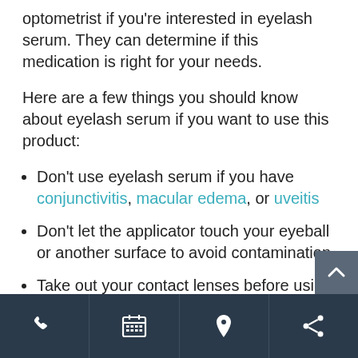optometrist if you're interested in eyelash serum. They can determine if this medication is right for your needs.
Here are a few things you should know about eyelash serum if you want to use this product:
Don't use eyelash serum if you have conjunctivitis, macular edema, or uveitis
Don't let the applicator touch your eyeball or another surface to avoid contamination
Take out your contact lenses before using the serum & wait 15 minutes before placing them back in—your lenses may absorb the eyelash serum
Phone | Calendar | Location | Share